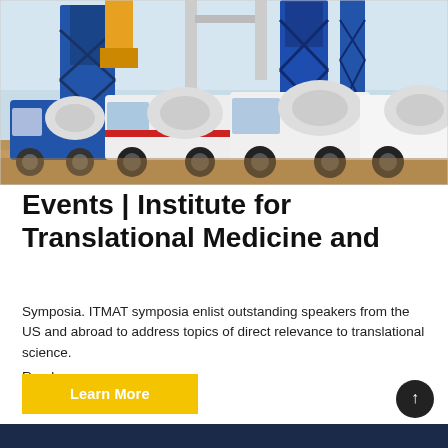[Figure (photo): Photograph of multiple concrete mixer trucks parked at a construction site with a large blue industrial structure (concrete batching plant) in the background.]
Events | Institute for Translational Medicine and
Symposia. ITMAT symposia enlist outstanding speakers from the US and abroad to address topics of direct relevance to translational science. Read more
Learn More